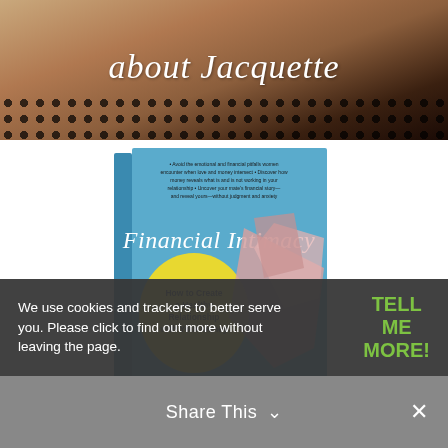[Figure (photo): Photo banner of a woman wearing a lace top with cursive text overlay reading 'about Jacquette']
[Figure (photo): Book cover of 'Financial Intimacy: How to Create a Healthy Relationship with Your Money' by Jacquette M. Timmons, blue cover with yellow circle and geometric pink shapes]
We use cookies and trackers to better serve you. Please click to find out more without leaving the page.
TELL ME MORE!
Share This
Financial Intimacy